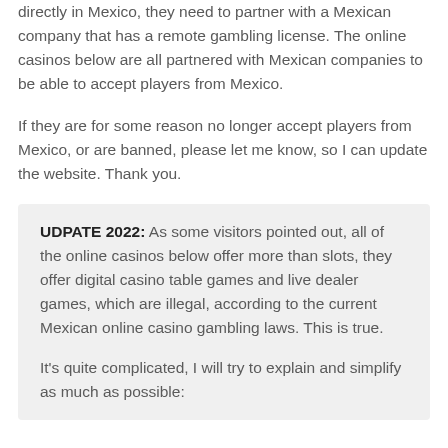directly in Mexico, they need to partner with a Mexican company that has a remote gambling license. The online casinos below are all partnered with Mexican companies to be able to accept players from Mexico.
If they are for some reason no longer accept players from Mexico, or are banned, please let me know, so I can update the website. Thank you.
UDPATE 2022: As some visitors pointed out, all of the online casinos below offer more than slots, they offer digital casino table games and live dealer games, which are illegal, according to the current Mexican online casino gambling laws. This is true.
It's quite complicated, I will try to explain and simplify as much as possible: